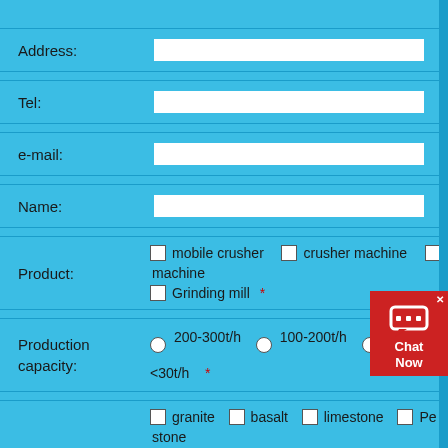| Field | Value |
| --- | --- |
| Address: |  |
| Tel: |  |
| e-mail: |  |
| Name: |  |
| Product: | mobile crusher  crusher machine  machine  Grinding mill * |
| Production capacity: | 200-300t/h  100-200t/h  50-100t/h  <30t/h * |
|  | granite  basalt  limestone  Pe...stone |